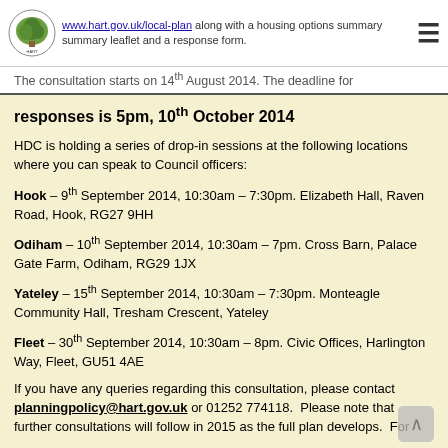www.hart.gov.uk/local-plan along with a housing options summary summary leaflet and a response form.
The consultation starts on 14th August 2014. The deadline for responses is 5pm, 10th October 2014
HDC is holding a series of drop-in sessions at the following locations where you can speak to Council officers:
Hook – 9th September 2014, 10:30am – 7:30pm. Elizabeth Hall, Raven Road, Hook, RG27 9HH
Odiham – 10th September 2014, 10:30am – 7pm. Cross Barn, Palace Gate Farm, Odiham, RG29 1JX
Yateley – 15th September 2014, 10:30am – 7:30pm. Monteagle Community Hall, Tresham Crescent, Yateley
Fleet – 30th September 2014, 10:30am – 8pm. Civic Offices, Harlington Way, Fleet, GU51 4AE
If you have any queries regarding this consultation, please contact planningpolicy@hart.gov.uk or 01252 774118. Please note that further consultations will follow in 2015 as the full plan develops. For